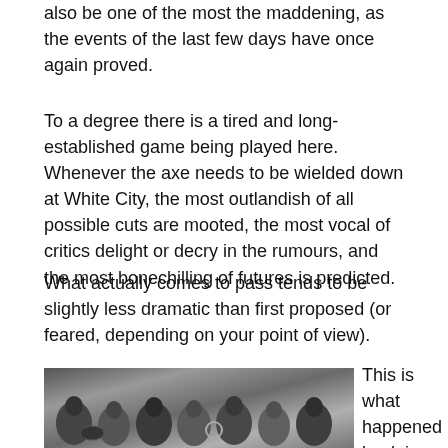also be one of the most the maddening, as the events of the last few days have once again proved.
To a degree there is a tired and long-established game being played here. Whenever the axe needs to be wielded down at White City, the most outlandish of all possible cuts are mooted, the most vocal of critics delight or decry in the rumours, and the most bonechilling of futures is predicted.
What actually comes to pass tends to be slightly less dramatic than first proposed (or feared, depending on your point of view).
[Figure (photo): Black and white photograph of a crowd of people, including musicians with instruments such as a drum and a French horn, appearing to be at an outdoor event or parade in the early 1980s.]
This is what happened back in the early 80s when cuts